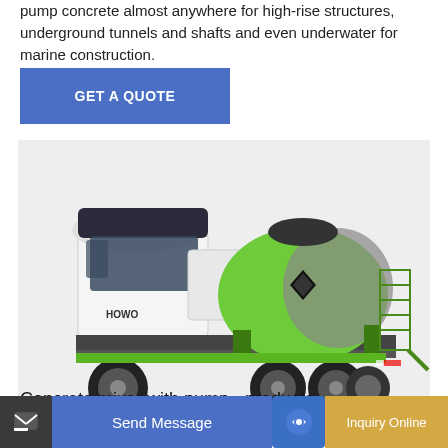pump concrete almost anywhere for high-rise structures, underground tunnels and shafts and even underwater for marine construction.
GET A QUOTE
[Figure (photo): A green and grey concrete mixer truck (HOWO brand) on a white/light grey background. The truck has multiple axles and a large rotating drum for mixing concrete.]
Concrete mixer with pump - products -
Send Message
Inquiry Online